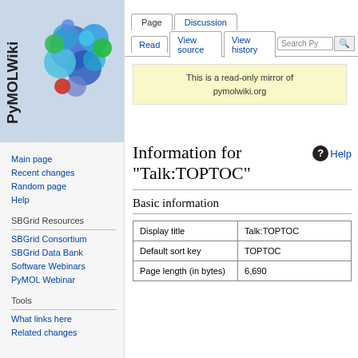[Figure (illustration): PyMOLWiki logo with rotating vertical text 'PyMOLWiki' and a molecular 3D structure rendered in blue/cyan/green/red spheres on a light blue background]
Log in
Main page
Recent changes
Random page
Help
SBGrid Resources
SBGrid Consortium
SBGrid Data Bank
Software Webinars
PyMOL Webinar
Tools
What links here
Related changes
This is a read-only mirror of pymolwiki.org
Information for "Talk:TOPTOC"
Basic information
|  |  |
| --- | --- |
| Display title | Talk:TOPTOC |
| Default sort key | TOPTOC |
| Page length (in bytes) | 6,690 |